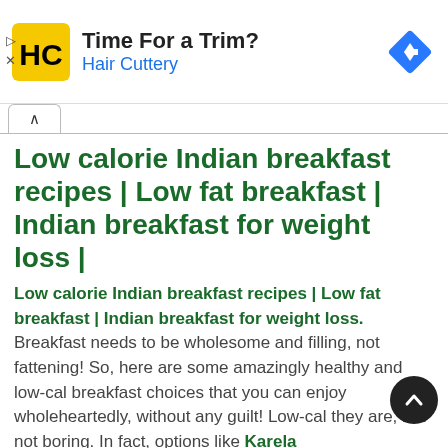[Figure (logo): Hair Cuttery advertisement banner with HC logo, 'Time For a Trim?' heading, 'Hair Cuttery' in blue, and a blue diamond navigation icon on the right]
Low calorie Indian breakfast recipes | Low fat breakfast | Indian breakfast for weight loss |
Low calorie Indian breakfast recipes | Low fat breakfast | Indian breakfast for weight loss. Breakfast needs to be wholesome and filling, not fattening! So, here are some amazingly healthy and low-cal breakfast choices that you can enjoy wholeheartedly, without any guilt! Low-cal they are, but not boring. In fact, options like Karela